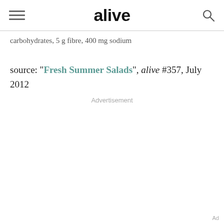alive
carbohydrates, 5 g fibre, 400 mg sodium
source: "Fresh Summer Salads", alive #357, July 2012
Advertisement
Ad